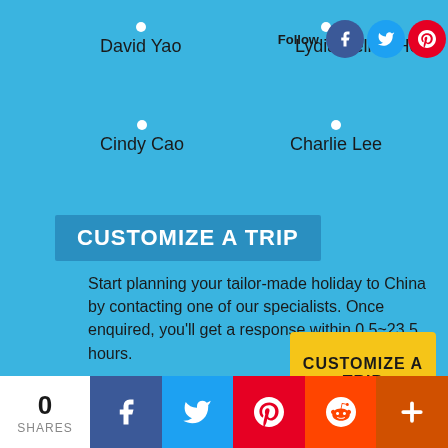David Yao
Lydia Li
Hellen He
Cindy Cao
Charlie Lee
CUSTOMIZE A TRIP
Start planning your tailor-made holiday to China by contacting one of our specialists. Once enquired, you'll get a response within 0.5~23.5 hours.
CUSTOMIZE A TRIP
0 SHARES